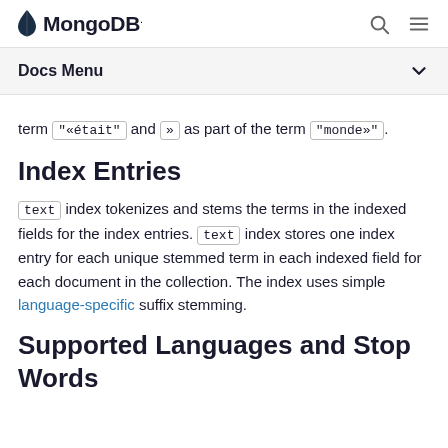MongoDB
Docs Menu
term "«était" and » as part of the term "monde»".
Index Entries
text index tokenizes and stems the terms in the indexed fields for the index entries. text index stores one index entry for each unique stemmed term in each indexed field for each document in the collection. The index uses simple language-specific suffix stemming.
Supported Languages and Stop Words